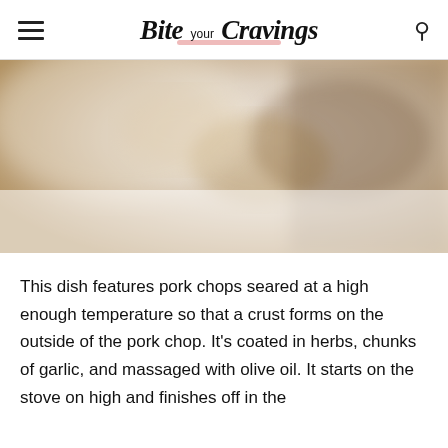Bite your Cravings
[Figure (photo): Blurry/soft-focus food photo showing pork chops, partially visible, warm tones with yellow and brown hues]
This dish features pork chops seared at a high enough temperature so that a crust forms on the outside of the pork chop. It's coated in herbs, chunks of garlic, and massaged with olive oil. It starts on the stove on high and finishes off in the